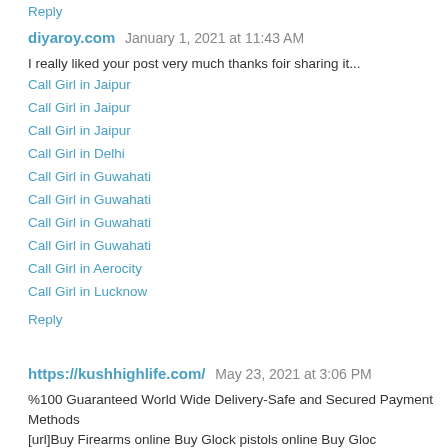Reply
diyaroy.com  January 1, 2021 at 11:43 AM
I really liked your post very much thanks foir sharing it...
Call Girl in Jaipur
Call Girl in Jaipur
Call Girl in Jaipur
Call Girl in Delhi
Call Girl in Guwahati
Call Girl in Guwahati
Call Girl in Guwahati
Call Girl in Guwahati
Call Girl in Aerocity
Call Girl in Lucknow
Reply
https://kushhighlife.com/  May 23, 2021 at 3:06 PM
%100 Guaranteed World Wide Delivery-Safe and Secured Payment Methods
[url]Buy Firearms online Buy Glock pistols online Buy Gloc